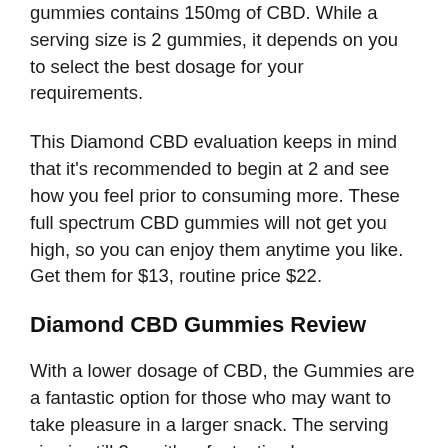gummies contains 150mg of CBD. While a serving size is 2 gummies, it depends on you to select the best dosage for your requirements.
This Diamond CBD evaluation keeps in mind that it's recommended to begin at 2 and see how you feel prior to consuming more. These full spectrum CBD gummies will not get you high, so you can enjoy them anytime you like. Get them for $13, routine price $22.
Diamond CBD Gummies Review
With a lower dosage of CBD, the Gummies are a fantastic option for those who may want to take pleasure in a larger snack. The serving size is still 2, so it's a fantastic place to start. More here on the next page...